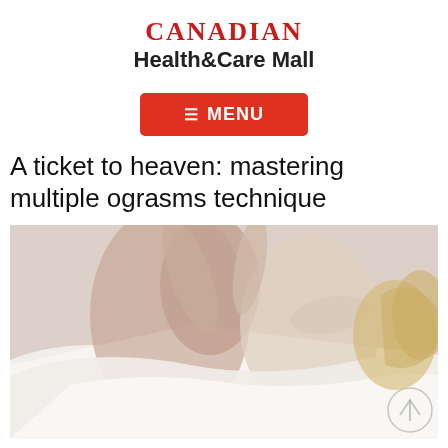[Figure (logo): Canadian Health&Care Mall logo with red 'CANADIAN' text in serif font and bold black 'Health&Care Mall' below]
[Figure (infographic): Red rectangular menu button with hamburger icon and text 'MENU']
A ticket to heaven: mastering multiple ograsms technique
[Figure (photo): Intimate couple embracing in bed covered with white sheets, woman with blonde curly hair visible on right side, overhead view]